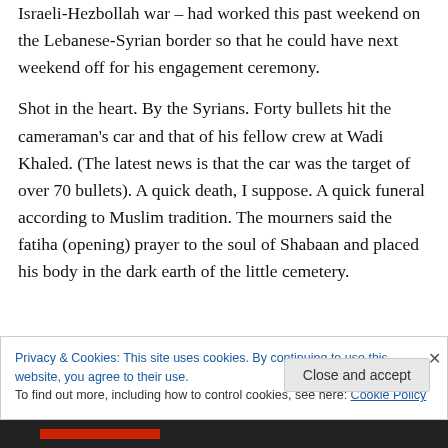Israeli-Hezbollah war – had worked this past weekend on the Lebanese-Syrian border so that he could have next weekend off for his engagement ceremony.
Shot in the heart. By the Syrians. Forty bullets hit the cameraman's car and that of his fellow crew at Wadi Khaled. (The latest news is that the car was the target of over 70 bullets). A quick death, I suppose. A quick funeral according to Muslim tradition. The mourners said the fatiha (opening) prayer to the soul of Shabaan and placed his body in the dark earth of the little cemetery.
Privacy & Cookies: This site uses cookies. By continuing to use this website, you agree to their use.
To find out more, including how to control cookies, see here: Cookie Policy
Close and accept